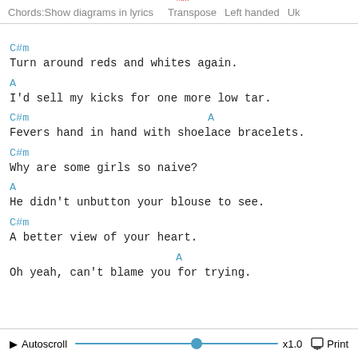Chords: Show diagrams in lyrics [new] Transpose Left handed Uk
C#m
Turn around reds and whites again.
A
I'd sell my kicks for one more low tar.
C#m                                    A
Fevers hand in hand with shoelace bracelets.
C#m
Why are some girls so naive?
A
He didn't unbutton your blouse to see.
C#m
A better view of your heart.
A
Oh yeah, can't blame you for trying.
▶ Autoscroll   x1.0   Print